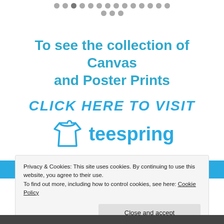[Figure (other): Row of gray navigation dots at top of page, with a selected/darker dot in position 3, and a second smaller row of 3 dots below.]
To see the collection of Canvas and Poster Prints
[Figure (logo): CLICK HERE TO VISIT text in bold blue italic caps, followed by Teespring logo with t-shirt icon and 'teespring' wordmark in blue.]
Privacy & Cookies: This site uses cookies. By continuing to use this website, you agree to their use. To find out more, including how to control cookies, see here: Cookie Policy
Close and accept